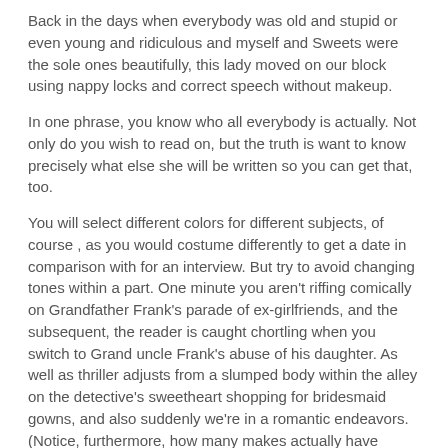Back in the days when everybody was old and stupid or even young and ridiculous and myself and Sweets were the sole ones beautifully, this lady moved on our block using nappy locks and correct speech without makeup.
In one phrase, you know who all everybody is actually. Not only do you wish to read on, but the truth is want to know precisely what else she will be written so you can get that, too.
You will select different colors for different subjects, of course , as you would costume differently to get a date in comparison with for an interview. But try to avoid changing tones within a part. One minute you aren't riffing comically on Grandfather Frank's parade of ex-girlfriends, and the subsequent, the reader is caught chortling when you switch to Grand uncle Frank's abuse of his daughter. As well as thriller adjusts from a slumped body within the alley on the detective's sweetheart shopping for bridesmaid gowns, and also suddenly we're in a romantic endeavors. (Notice, furthermore, how many makes actually have firmness in their brands: thriller, romance, mystery, scary …. )